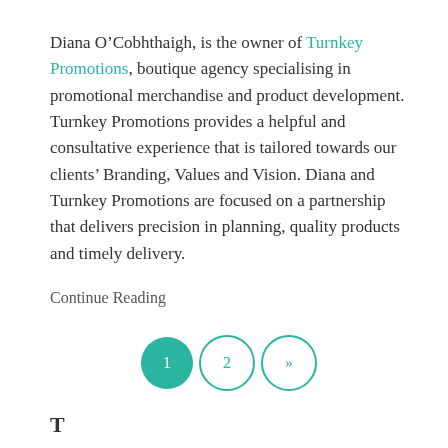Diana O'Cobhthaigh, is the owner of Turnkey Promotions, boutique agency specialising in promotional merchandise and product development. Turnkey Promotions provides a helpful and consultative experience that is tailored towards our clients' Branding, Values and Vision. Diana and Turnkey Promotions are focused on a partnership that delivers precision in planning, quality products and timely delivery.
Continue Reading
[Figure (other): Pagination controls: page 1 (active, teal filled circle), page 2 (teal outline circle), next arrow (teal outline circle with >>)]